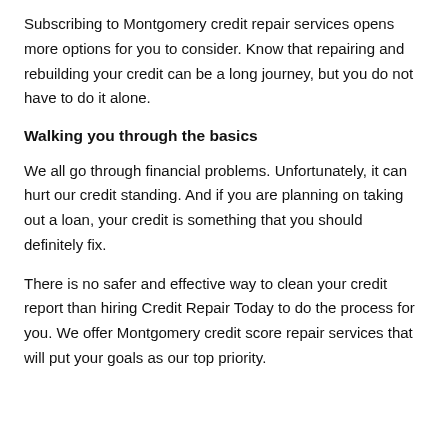Subscribing to Montgomery credit repair services opens more options for you to consider. Know that repairing and rebuilding your credit can be a long journey, but you do not have to do it alone.
Walking you through the basics
We all go through financial problems. Unfortunately, it can hurt our credit standing. And if you are planning on taking out a loan, your credit is something that you should definitely fix.
There is no safer and effective way to clean your credit report than hiring Credit Repair Today to do the process for you. We offer Montgomery credit score repair services that will put your goals as our top priority.